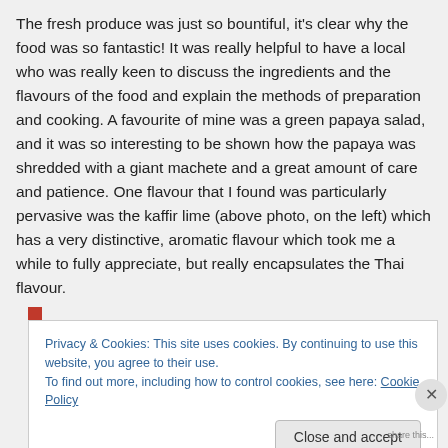The fresh produce was just so bountiful, it's clear why the food was so fantastic! It was really helpful to have a local who was really keen to discuss the ingredients and the flavours of the food and explain the methods of preparation and cooking. A favourite of mine was a green papaya salad, and it was so interesting to be shown how the papaya was shredded with a giant machete and a great amount of care and patience. One flavour that I found was particularly pervasive was the kaffir lime (above photo, on the left) which has a very distinctive, aromatic flavour which took me a while to fully appreciate, but really encapsulates the Thai flavour.
Privacy & Cookies: This site uses cookies. By continuing to use this website, you agree to their use. To find out more, including how to control cookies, see here: Cookie Policy